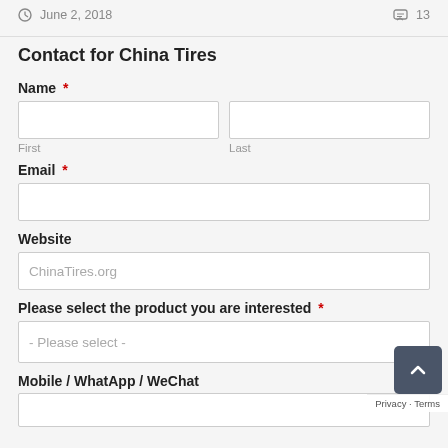June 2, 2018   13
Contact for China Tires
Name *
First
Last
Email *
Website
ChinaTires.org
Please select the product you are interested *
- Please select -
Mobile / WhatApp / WeChat